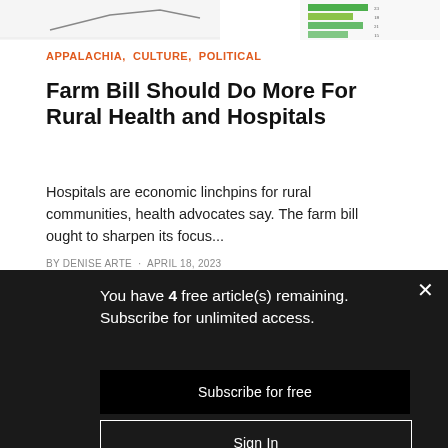[Figure (other): Partial top image strip visible at the top of the page (screenshot cropped)]
APPALACHIA, CULTURE, POLITICAL
Farm Bill Should Do More For Rural Health and Hospitals
Hospitals are economic linchpins for rural communities, health advocates say. The farm bill ought to sharpen its focus...
BY [AUTHOR NAME] · [DATE]
You have 4 free article(s) remaining. Subscribe for unlimited access.
Subscribe for free
Sign In